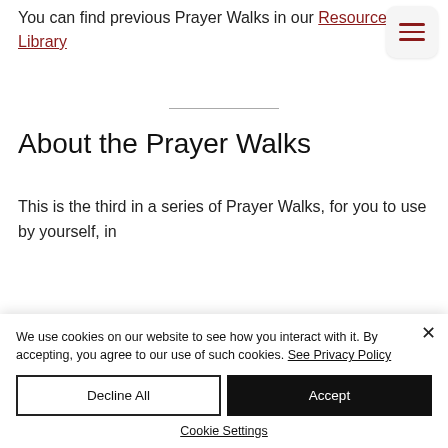You can find previous Prayer Walks in our Resource Library
[Figure (other): Hamburger menu button with three horizontal lines in dark red on a light gray rounded square background]
About the Prayer Walks
This is the third in a series of Prayer Walks, for you to use by yourself, in
We use cookies on our website to see how you interact with it. By accepting, you agree to our use of such cookies. See Privacy Policy
Decline All
Accept
Cookie Settings